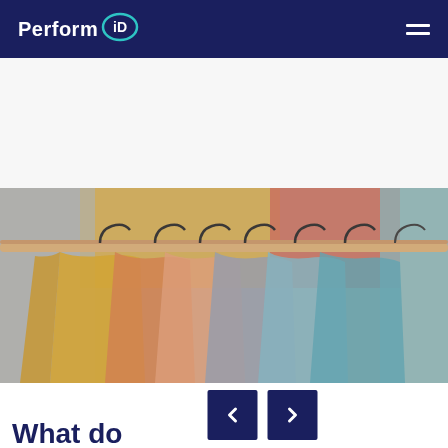Perform iD
[Figure (photo): Colorful clothing items hanging on a wooden rack/rail against a colorful wall background (yellow, red/salmon, teal). Multiple garments in various colors including yellow/mustard, orange, gray, and blue/teal are visible on dark hangers.]
What do...
[Figure (other): Navigation previous and next arrow buttons in dark navy blue color]